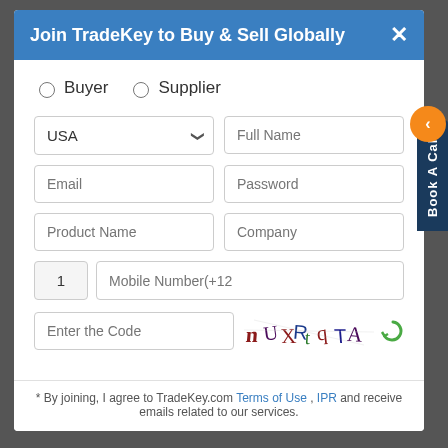Join TradeKey to Buy & Sell Globally
Buyer   Supplier
[Figure (screenshot): Registration form with fields: country dropdown (USA), Full Name, Email, Password, Product Name, Company, phone number (country code 1), Mobile Number, Enter the Code (captcha), and a CAPTCHA image showing distorted text 'nUXRtqTA' with a refresh icon]
* By joining, I agree to TradeKey.com Terms of Use , IPR and receive emails related to our services.